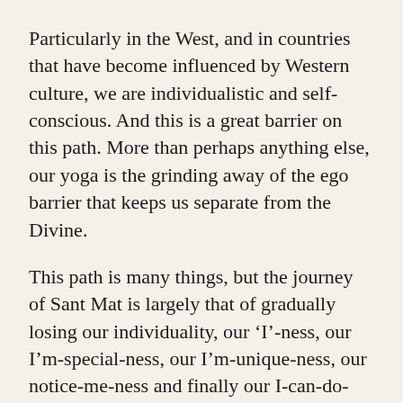Particularly in the West, and in countries that have become influenced by Western culture, we are individualistic and self-conscious. And this is a great barrier on this path. More than perhaps anything else, our yoga is the grinding away of the ego barrier that keeps us separate from the Divine.
This path is many things, but the journey of Sant Mat is largely that of gradually losing our individuality, our ‘I’-ness, our I’m-special-ness, our I’m-unique-ness, our notice-me-ness and finally our I-can-do-this-alone-ness.
Over the decades many a strutting bantam, attractive young stallion or intellectually arrogant whizz-kid have slowly been broken down by life, reality or perhaps the Guru himself until eventually we just give up – surrender – and experience our true